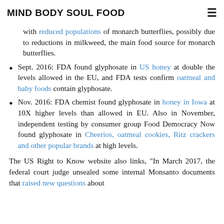MIND BODY SOUL FOOD
with reduced populations of monarch butterflies, possibly due to reductions in milkweed, the main food source for monarch butterflies.
Sept. 2016: FDA found glyphosate in US honey at double the levels allowed in the EU, and FDA tests confirm oatmeal and baby foods contain glyphosate.
Nov. 2016: FDA chemist found glyphosate in honey in Iowa at 10X higher levels than allowed in EU. Also in November, independent testing by consumer group Food Democracy Now found glyphosate in Cheerios, oatmeal cookies, Ritz crackers and other popular brands at high levels.
The US Right to Know website also links, "In March 2017, the federal court judge unsealed some internal Monsanto documents that raised new questions about